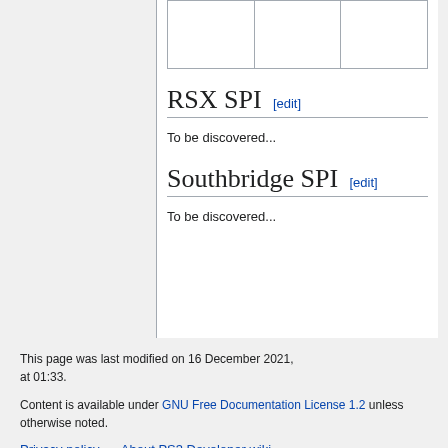|  |  |  |
RSX SPI [edit]
To be discovered...
Southbridge SPI [edit]
To be discovered...
This page was last modified on 16 December 2021, at 01:33.
Content is available under GNU Free Documentation License 1.2 unless otherwise noted.
Privacy policy   About PS3 Developer wiki
Disclaimers